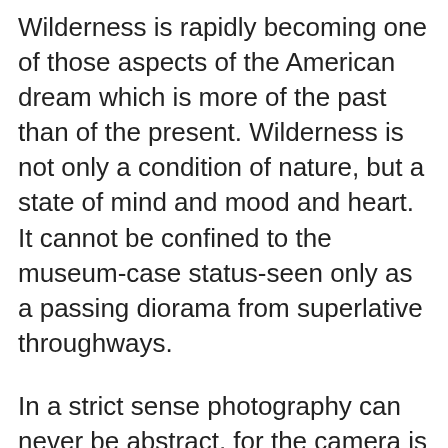Wilderness is rapidly becoming one of those aspects of the American dream which is more of the past than of the present. Wilderness is not only a condition of nature, but a state of mind and mood and heart. It cannot be confined to the museum-case status-seen only as a passing diorama from superlative throughways.
In a strict sense photography can never be abstract, for the camera is incapable of synthetic integration.
I usually have an immediate recognition of the potential image, and I have found that too much concern about matters such as conventional composition may take the edge off the first inclusive reaction.